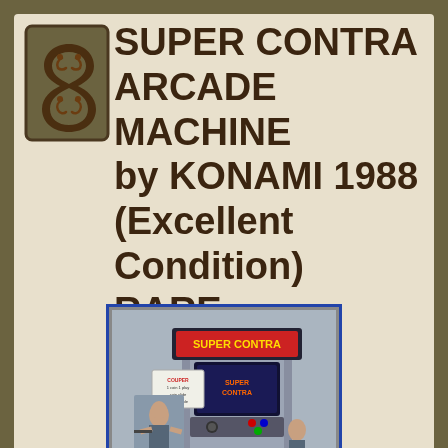[Figure (logo): Decorative scrollwork logo/icon in dark brown on olive background, left side of page]
SUPER CONTRA ARCADE MACHINE by KONAMI 1988 (Excellent Condition) RARE
[Figure (photo): Photo of a Super Contra arcade cabinet by Konami, showing the marquee, monitor, control panel, and side art with a soldier character]